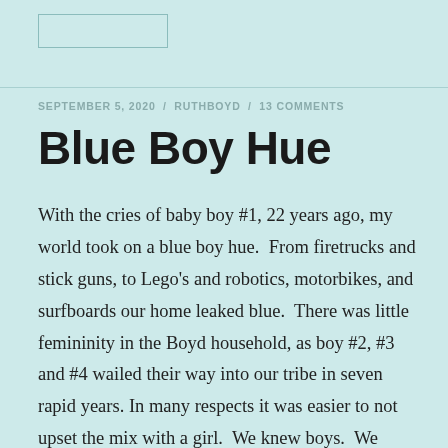SEPTEMBER 5, 2020 / RUTHBOYD / 13 COMMENTS
Blue Boy Hue
With the cries of baby boy #1, 22 years ago, my world took on a blue boy hue.  From firetrucks and stick guns, to Lego's and robotics, motorbikes, and surfboards our home leaked blue.  There was little femininity in the Boyd household, as boy #2, #3 and #4 wailed their way into our tribe in seven rapid years. In many respects it was easier to not upset the mix with a girl.  We knew boys.  We knew what to do with boys.  We had boys down.  We had the clothes, the shoes, the toys, and apparently the “boy only” mold. We would not